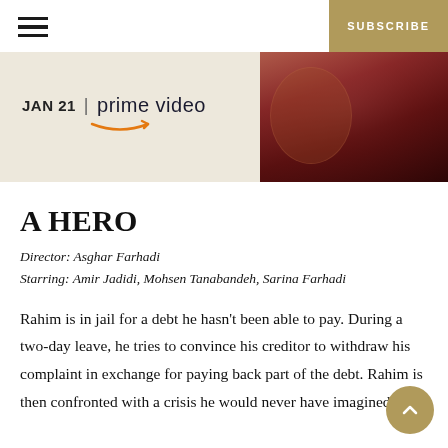☰  SUBSCRIBE
[Figure (photo): Banner image showing 'JAN 21 | prime video' text on a warm beige background on the left, and a dark reddish-brown close-up image (possibly a guitar or instrument) on the right.]
A HERO
Director: Asghar Farhadi
Starring: Amir Jadidi, Mohsen Tanabandeh, Sarina Farhadi
Rahim is in jail for a debt he hasn't been able to pay. During a two-day leave, he tries to convince his creditor to withdraw his complaint in exchange for paying back part of the debt. Rahim is then confronted with a crisis he would never have imagined.